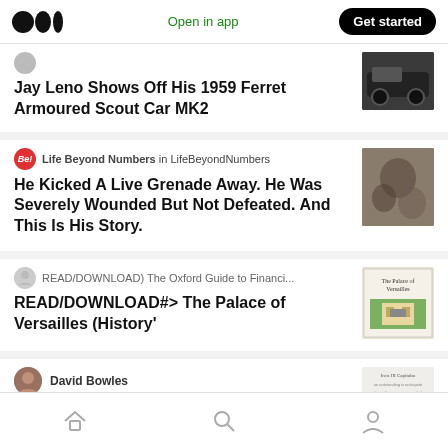Medium logo | Open in app | Get started
Jay Leno Shows Off His 1959 Ferret Armoured Scout Car MK2
Life Beyond Numbers in LifeBeyondNumbers
He Kicked A Live Grenade Away. He Was Severely Wounded But Not Defeated. And This Is His Story.
READ/DOWNLOAD) The Oxford Guide to Financi...
READ/DOWNLOAD#> The Palace of Versailles (History'
David Bowles
Home | Search | Profile